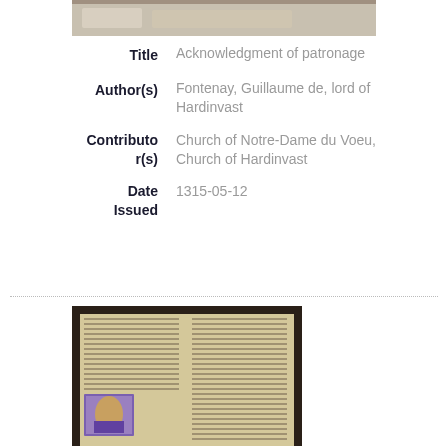[Figure (photo): Top portion of a manuscript page image, partially visible]
| Title | Acknowledgment of patronage |
| Author(s) | Fontenay, Guillaume de, lord of Hardinvast |
| Contributor(s) | Church of Notre-Dame du Voeu, Church of Hardinvast |
| Date Issued | 1315-05-12 |
[Figure (photo): Manuscript page with dense handwritten text in two columns and an illuminated miniature illustration at lower left]